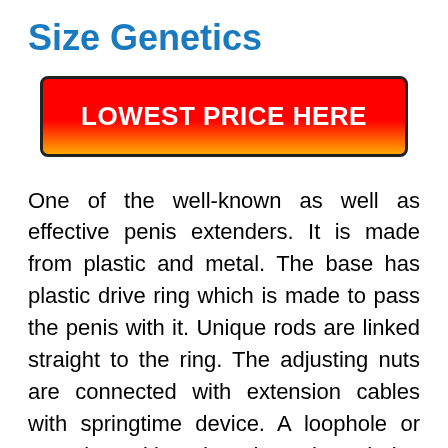Size Genetics
[Figure (other): Red-to-orange gradient call-to-action button with text LOWEST PRICE HERE]
One of the well-known as well as effective penis extenders. It is made from plastic and metal. The base has plastic drive ring which is made to pass the penis with it. Unique rods are linked straight to the ring. The adjusting nuts are connected with extension cables with springtime device. A loophole or strap is positioned on the rods and also it is utilized to repair the placement of penis in the enlargement device. As an optional tools, it may consist of bows or added linings so that the user can quickly use it, likewise as